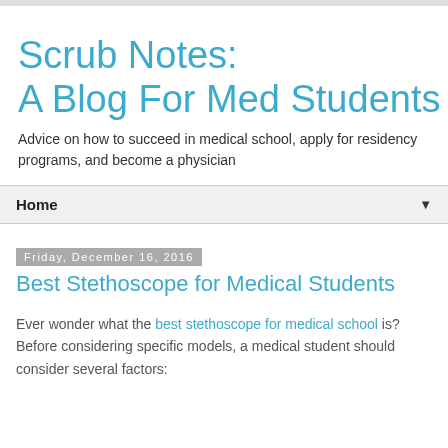Scrub Notes:
A Blog For Med Students
Advice on how to succeed in medical school, apply for residency programs, and become a physician
Home
Friday, December 16, 2016
Best Stethoscope for Medical Students
Ever wonder what the best stethoscope for medical school is? Before considering specific models, a medical student should consider several factors: